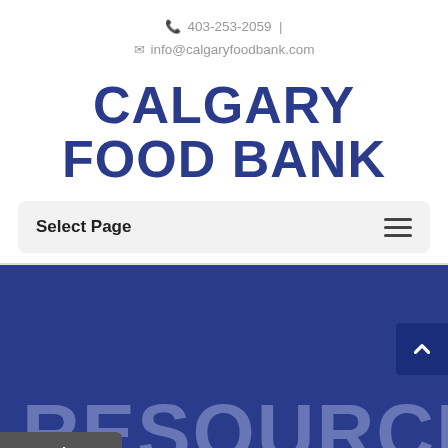403-253-2059 | info@calgaryfoodbank.com
CALGARY FOOD BANK
Select Page
[Figure (screenshot): Blue hero banner area with large watermark text 'RESOURCE' and a scroll-to-top button, plus a Translate button in the bottom-left corner]